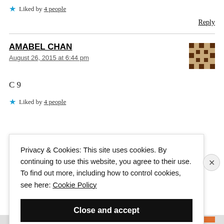★ Liked by 4 people
Reply
AMABEL CHAN
August 26, 2015 at 6:44 pm
[Figure (other): User avatar: brown/tan pixel art square pattern]
C 9
★ Liked by 4 people
Privacy & Cookies: This site uses cookies. By continuing to use this website, you agree to their use. To find out more, including how to control cookies, see here: Cookie Policy
Close and accept